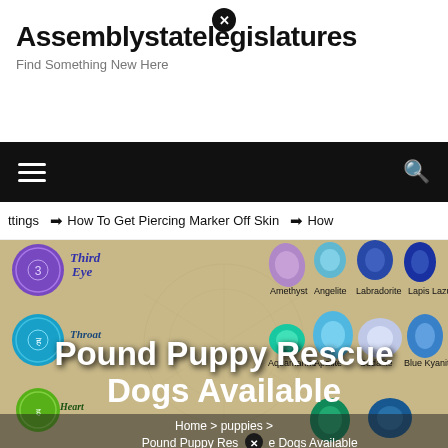Assemblystatelegislatures — Find Something New Here
Navigation bar with hamburger menu and search icon
ttings  ❯  How To Get Piercing Marker Off Skin  ❯  How
[Figure (photo): Website screenshot showing crystals/chakra stones image with 'Pound Puppy Rescue Dogs Available' title overlay, plus breadcrumb navigation: Home > puppies > Pound Puppy Rescue Dogs Available]
Pound Puppy Rescue Dogs Available
Home › puppies › Pound Puppy Rescue Dogs Available